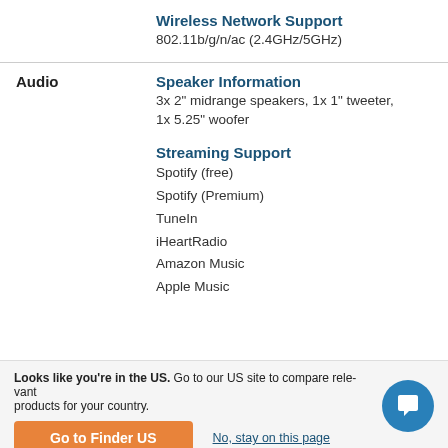Wireless Network Support
802.11b/g/n/ac (2.4GHz/5GHz)
Audio
Speaker Information
3x 2" midrange speakers, 1x 1" tweeter, 1x 5.25" woofer
Streaming Support
Spotify (free)
Spotify (Premium)
TuneIn
iHeartRadio
Amazon Music
Apple Music
Looks like you're in the US. Go to our US site to compare relevant products for your country. | Go to Finder US | No, stay on this page